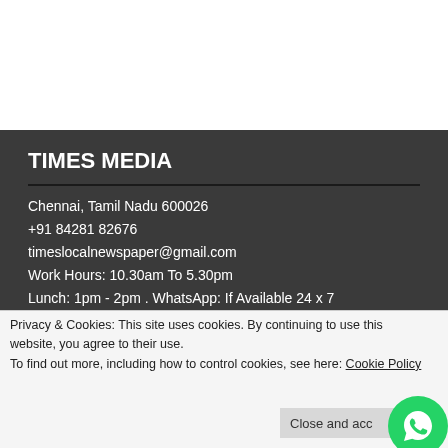TIMES MEDIA
Chennai, Tamil Nadu 600026
+91 84281 82676
timeslocalnewspaper@gmail.com
Work Hours: 10.30am To 5.30pm
Lunch: 1pm - 2pm . WhatsApp: If Available 24 x 7
SHARE YOUR CHENNAI NEIGHBOURHOOD NEWS
Privacy & Cookies: This site uses cookies. By continuing to use this website, you agree to their use.
To find out more, including how to control cookies, see here: Cookie Policy
Close and acc